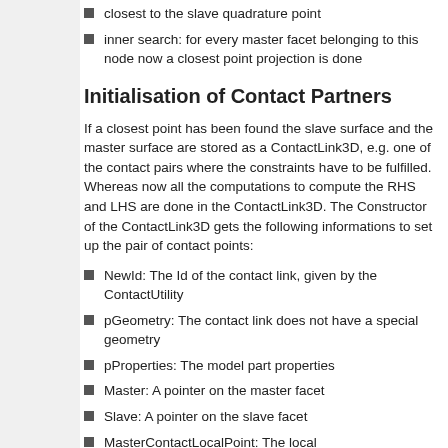closest to the slave quadrature point
inner search: for every master facet belonging to this node now a closest point projection is done
Initialisation of Contact Partners
If a closest point has been found the slave surface and the master surface are stored as a ContactLink3D, e.g. one of the contact pairs where the constraints have to be fulfilled. Whereas now all the computations to compute the RHS and LHS are done in the ContactLink3D. The Constructor of the ContactLink3D gets the following informations to set up the pair of contact points:
NewId: The Id of the contact link, given by the ContactUtility
pGeometry: The contact link does not have a special geometry
pProperties: The model part properties
Master: A pointer on the master facet
Slave: A pointer on the slave facet
MasterContactLocalPoint: The local